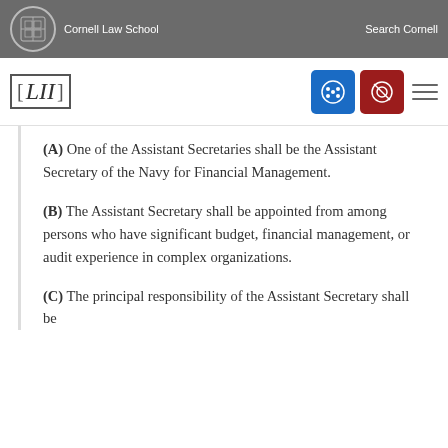Cornell Law School | Search Cornell
[Figure (logo): LII Legal Information Institute logo with navigation icons]
(A) One of the Assistant Secretaries shall be the Assistant Secretary of the Navy for Financial Management.
(B) The Assistant Secretary shall be appointed from among persons who have significant budget, financial management, or audit experience in complex organizations.
(C) The principal responsibility of the Assistant Secretary shall be